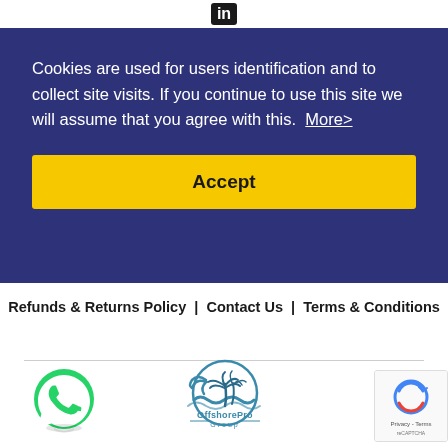in
Cookies are used for users identification and to collect site visits. If you continue to use this site we will assume that you agree with this.  More>
Accept
Refunds & Returns Policy  |  Contact Us  |  Terms & Conditions
[Figure (logo): WhatsApp icon - green circle with white phone handset]
[Figure (logo): OffshorePro Group logo - circular wave and palm tree design in teal/blue with text OffshorePro Group below]
[Figure (logo): reCAPTCHA badge in bottom right corner with Google branding and privacy/terms links]